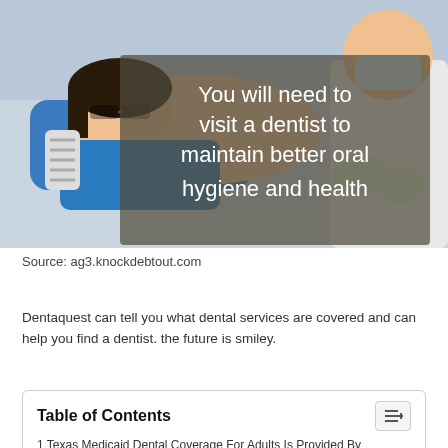[Figure (photo): A patient lying in a dental chair with a dentist in gloves working on them. A semi-transparent dark overlay box contains large white text reading: 'You will need to visit a dentist to maintain better oral hygiene and health']
Source: ag3.knockdebtout.com
Dentaquest can tell you what dental services are covered and can help you find a dentist.  the future is smiley.
| Table of Contents |
| --- |
| 1  Texas Medicaid Dental Coverage For Adults Is Provided By |